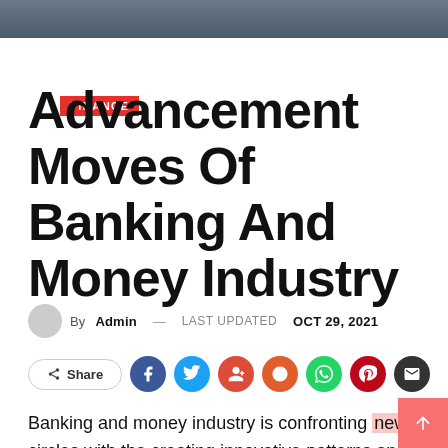[Figure (photo): Top banner image showing people, partially cropped]
FINANCE
Advancement Moves Of Banking And Money Industry
By Admin — LAST UPDATED OCT 29, 2021
[Figure (infographic): Social share buttons row: Share, Facebook, Twitter, Google+, Reddit, WhatsApp, Pinterest, Email]
Banking and money industry is confronting new circles with the creating innovative patterns and